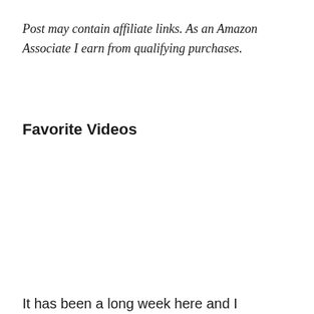Post may contain affiliate links. As an Amazon Associate I earn from qualifying purchases.
Favorite Videos
It has been a long week here and I